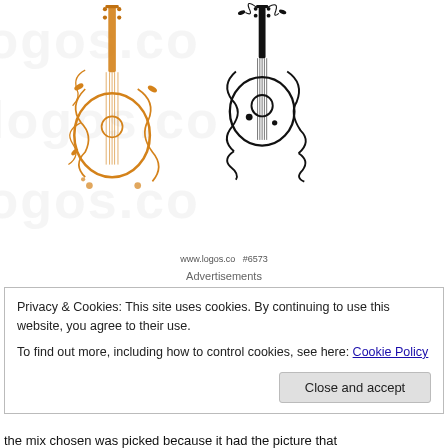[Figure (illustration): Two decorative guitar illustrations side by side — left one in orange with floral/swirl design, right one in black with floral/swirl design. Background has faint watermark text 'logos.co'. URL label reads 'www.logos.co  #6573'.]
www.logos.co   #6573
Advertisements
Privacy & Cookies: This site uses cookies. By continuing to use this website, you agree to their use.
To find out more, including how to control cookies, see here: Cookie Policy
Close and accept
the mix chosen was picked because it had the picture that